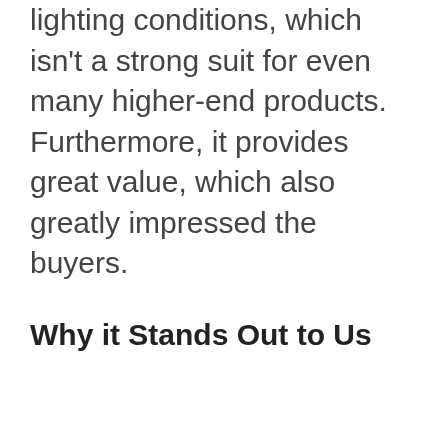lighting conditions, which isn't a strong suit for even many higher-end products. Furthermore, it provides great value, which also greatly impressed the buyers.
Why it Stands Out to Us